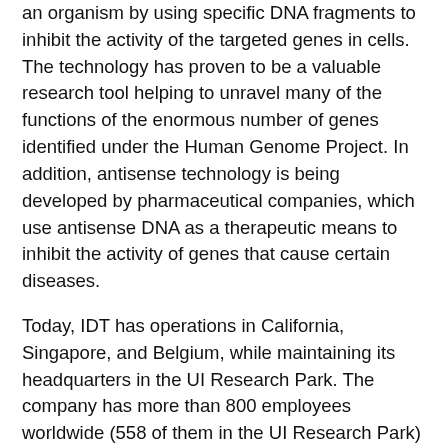an organism by using specific DNA fragments to inhibit the activity of the targeted genes in cells. The technology has proven to be a valuable research tool helping to unravel many of the functions of the enormous number of genes identified under the Human Genome Project. In addition, antisense technology is being developed by pharmaceutical companies, which use antisense DNA as a therapeutic means to inhibit the activity of genes that cause certain diseases.
Today, IDT has operations in California, Singapore, and Belgium, while maintaining its headquarters in the UI Research Park. The company has more than 800 employees worldwide (558 of them in the UI Research Park) and annual sales approaching $100 million. It provides products to more than 70,000 customers worldwide in both the academic and corporate research marketplace.